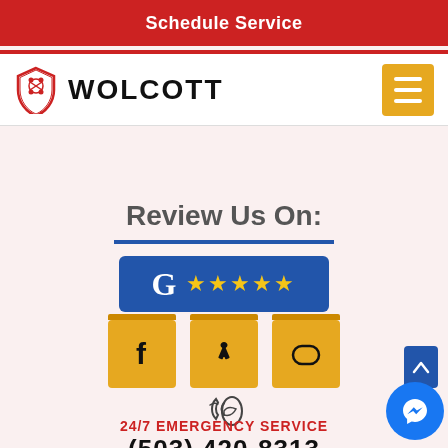Schedule Service
[Figure (logo): Wolcott logo with shield icon and company name]
Review Us On:
[Figure (infographic): Google review button (blue rectangle with G logo and 5 stars)]
[Figure (infographic): Social media icons: Facebook, Yelp, and chat/review icon on yellow/orange square buttons]
24/7 EMERGENCY SERVICE
(503) 420-8313